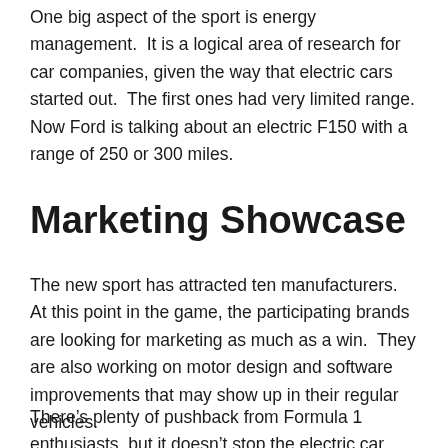One big aspect of the sport is energy management. It is a logical area of research for car companies, given the way that electric cars started out. The first ones had very limited range. Now Ford is talking about an electric F150 with a range of 250 or 300 miles.
Marketing Showcase
The new sport has attracted ten manufacturers. At this point in the game, the participating brands are looking for marketing as much as a win. They are also working on motor design and software improvements that may show up in their regular vehicles.
There's plenty of pushback from Formula 1 enthusiasts, but it doesn't stop the electric car